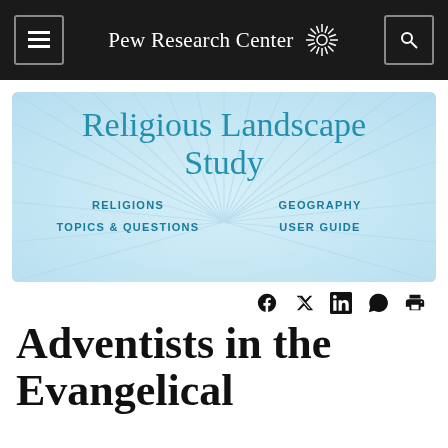Pew Research Center
[Figure (screenshot): Religious Landscape Study banner with sunburst rays background, showing navigation links: RELIGIONS, GEOGRAPHY, TOPICS & QUESTIONS, USER GUIDE]
[Figure (infographic): Social sharing icons: Facebook, Twitter, LinkedIn, WhatsApp, Print]
Adventists in the Evangelical